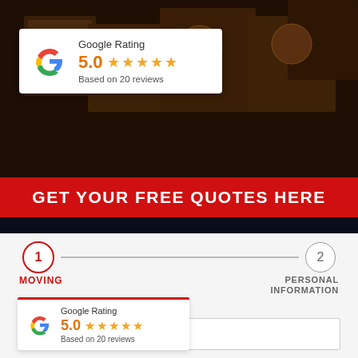[Figure (photo): Dark background photo of cardboard moving boxes stacked together]
[Figure (infographic): Google Rating card showing 5.0 stars based on 20 reviews, with Google G logo]
GET YOUR FREE QUOTES HERE
[Figure (infographic): Step 1 (MOVING) and Step 2 (PERSONAL INFORMATION) progress indicator]
[Figure (infographic): Second Google Rating card showing 5.0 stars based on 20 reviews, with Google G logo]
Moving From